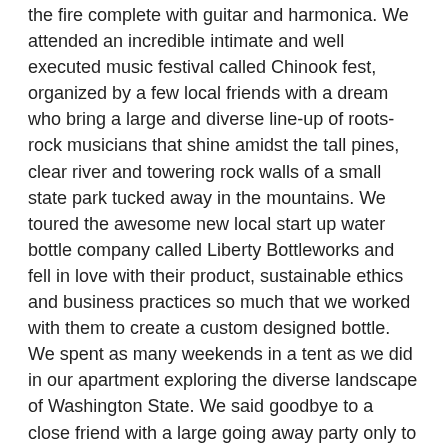the fire complete with guitar and harmonica. We attended an incredible intimate and well executed music festival called Chinook fest, organized by a few local friends with a dream who bring a large and diverse line-up of roots-rock musicians that shine amidst the tall pines, clear river and towering rock walls of a small state park tucked away in the mountains. We toured the awesome new local start up water bottle company called Liberty Bottleworks and fell in love with their product, sustainable ethics and business practices so much that we worked with them to create a custom designed bottle. We spent as many weekends in a tent as we did in our apartment exploring the diverse landscape of Washington State. We said goodbye to a close friend with a large going away party only to have him return in 3 months with little more explanation that “I love this place and I love you people.”
Ultimately we too fell in love with this big/little rural/urban town situated in the heart of Washington, and the heart of the entire northwest. Here are a few more reasons why:
Beautiful vineyards and delicious wineries stretch for over a hundred miles South-East to Walla-Walla. The Yakima Valley grows 75% of the